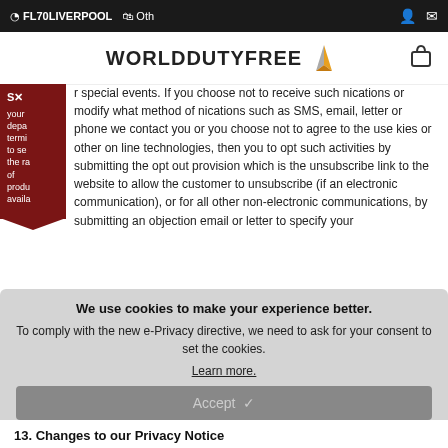FL70LIVERPOOL  Oth
[Figure (logo): World Duty Free logo with arrow/chevron icon]
r special events. If you choose not to receive such nications or modify what method of nications such as SMS, email, letter or phone we contact you or you choose not to agree to the use kies or other on line technologies, then you to opt such activities by submitting the opt out provision which is the unsubscribe link to the website to allow the customer to unsubscribe (if an electronic communication), or for all other non-electronic communications, by submitting an objection email or letter to specify your
We use cookies to make your experience better. To comply with the new e-Privacy directive, we need to ask for your consent to set the cookies. Learn more.
Accept
13. Changes to our Privacy Notice